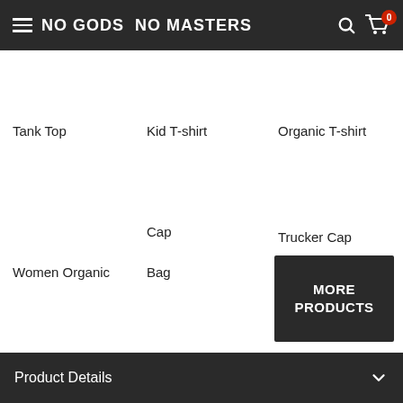NO GODS NO MASTERS
Tank Top
Kid T-shirt
Organic T-shirt
Cap
Trucker Cap
Women Organic
Bag
MORE PRODUCTS
Product Details